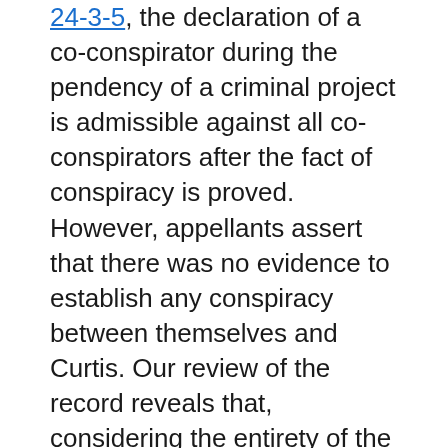24-3-5, the declaration of a co-conspirator during the pendency of a criminal project is admissible against all co-conspirators after the fact of conspiracy is proved. However, appellants assert that there was no evidence to establish any conspiracy between themselves and Curtis. Our review of the record reveals that, considering the entirety of the evidence presented at trial, a prima facie case of conspiracy was shown. Numerous wiretap tapes were played at trial wherein conversations were conducted between Curtis and appellant Beal concerning their plan to obtain the information, and during which they implicate appellant Cochran. The evidence was sufficient to